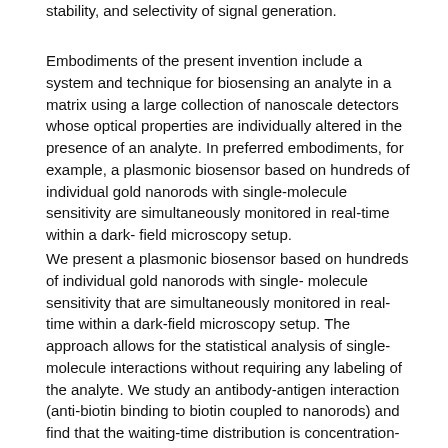stability, and selectivity of signal generation.
Embodiments of the present invention include a system and technique for biosensing an analyte in a matrix using a large collection of nanoscale detectors whose optical properties are individually altered in the presence of an analyte. In preferred embodiments, for example, a plasmonic biosensor based on hundreds of individual gold nanorods with single-molecule sensitivity are simultaneously monitored in real-time within a dark- field microscopy setup.
We present a plasmonic biosensor based on hundreds of individual gold nanorods with single- molecule sensitivity that are simultaneously monitored in real-time within a dark-field microscopy setup. The approach allows for the statistical analysis of single-molecule interactions without requiring any labeling of the analyte. We study an antibody-antigen interaction (anti-biotin binding to biotin coupled to nanorods) and find that the waiting-time distribution is concentration-dependent and obeys Poisson statistics. The ability to probe hundreds of nanoparticles simultaneously will provide a sensor with a dynamic range of 7 decades in concentration and will enable the study of